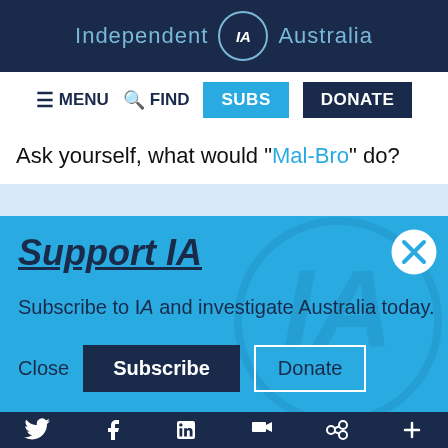Independent IA Australia
≡ MENU  🔍 FIND  SUBS  DONATE
Ask yourself, what would "Mal-Bro" do?
Support IA
Subscribe to IA and investigate Australia today.
Close  Subscribe  Donate
Twitter  Facebook  LinkedIn  Flipboard  Link  Plus